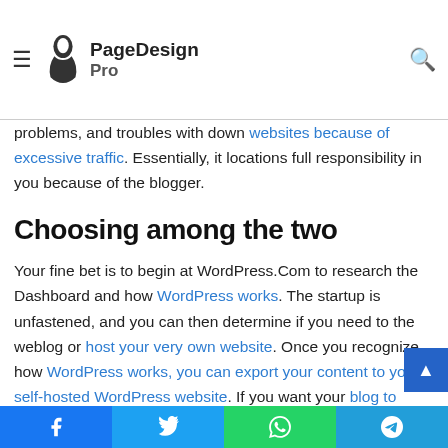PageDesign Pro
WordPress.Org calls for a significant quantity of technical experience to run it. You are also responsible for backing up your content material, dealing with junk mail problems, and troubles with down websites because of excessive traffic. Essentially, it locations full responsibility in you because of the blogger.
Choosing among the two
Your fine bet is to begin at WordPress.Com to research the Dashboard and how WordPress works. The startup is unfastened, and you can then determine if you need to the weblog or host your very own website. Once you recognize how WordPress works, you can export your content to your self-hosted WordPress website. If you want your blog to appear greater professional, WordPress.Com gives you